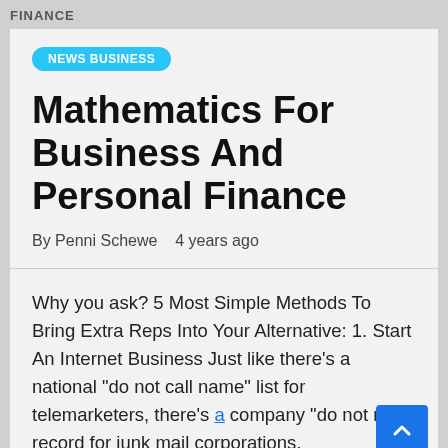FINANCE
NEWS BUSINESS
Mathematics For Business And Personal Finance
By Penni Schewe   4 years ago
Why you ask? 5 Most Simple Methods To Bring Extra Reps Into Your Alternative: 1. Start An Internet Business Just like there’s a national “do not call name” list for telemarketers, there’s a company “do not mail” record for junk mail corporations.